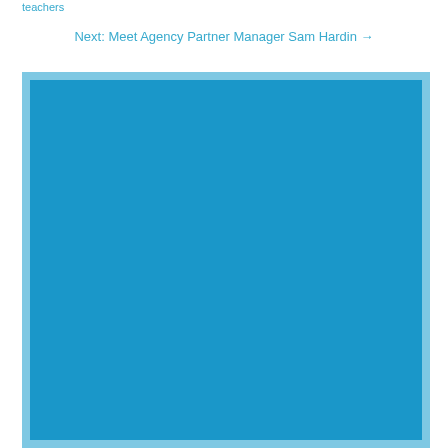teachers
Next: Meet Agency Partner Manager Sam Hardin →
[Figure (photo): Large blue rectangle image area with a lighter blue border, occupying most of the lower portion of the page. The interior is a solid medium blue color.]